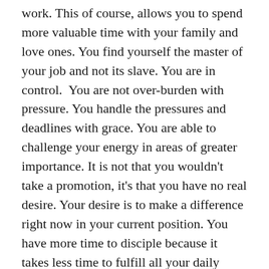work.  This of course, allows you to spend more valuable time with your family and love ones. You find yourself the master of your job and not its slave.  You are in control.  You are not over-burden with pressure.  You handle the pressures and deadlines with grace.  You are able to challenge your energy in areas of greater importance. It is not that you wouldn't take a promotion, it's that you have no real desire. Your desire is to make a difference right now in your current position. You have more time to disciple because it takes less time to fulfill all your daily responsibilities.
No, we don't need a job promotion to make a difference in this world.  We need a spiritual promotion; a promotion of the heart, mind, and soul.  That is the promotion we need every single day of our life.  With these promotions, we